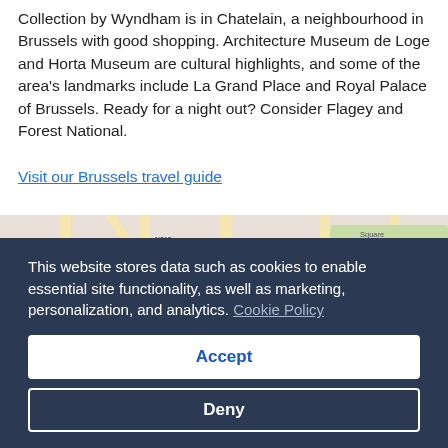Collection by Wyndham is in Chatelain, a neighbourhood in Brussels with good shopping. Architecture Museum de Loge and Horta Museum are cultural highlights, and some of the area's landmarks include La Grand Place and Royal Palace of Brussels. Ready for a night out? Consider Flagey and Forest National.
Visit our Brussels travel guide
[Figure (map): Google Maps view of Brussels showing areas including Pentagone, Marollen, Matonge, Jourdan, Palais de Bruxelles, Porte de Hal, Ixelles, Museum des sciences naturelles, Square Ambiorix, Parc du Cinquantenaire, Scheut, Cureghem/Kuregem, Anderlecht. Various road numbers visible: N5, N215, N265, N20, N3a, R21, N6.]
This website stores data such as cookies to enable essential site functionality, as well as marketing, personalization, and analytics. Cookie Policy
Accept
Deny